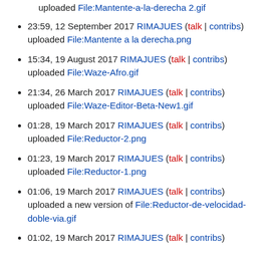uploaded File:Mantente-a-la-derecha 2.gif
23:59, 12 September 2017 RIMAJUES (talk | contribs) uploaded File:Mantente a la derecha.png
15:34, 19 August 2017 RIMAJUES (talk | contribs) uploaded File:Waze-Afro.gif
21:34, 26 March 2017 RIMAJUES (talk | contribs) uploaded File:Waze-Editor-Beta-New1.gif
01:28, 19 March 2017 RIMAJUES (talk | contribs) uploaded File:Reductor-2.png
01:23, 19 March 2017 RIMAJUES (talk | contribs) uploaded File:Reductor-1.png
01:06, 19 March 2017 RIMAJUES (talk | contribs) uploaded a new version of File:Reductor-de-velocidad-doble-via.gif
01:02, 19 March 2017 RIMAJUES (talk | contribs)